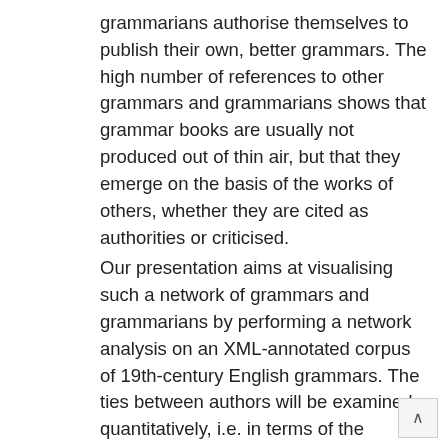grammarians authorise themselves to publish their own, better grammars. The high number of references to other grammars and grammarians shows that grammar books are usually not produced out of thin air, but that they emerge on the basis of the works of others, whether they are cited as authorities or criticised.
Our presentation aims at visualising such a network of grammars and grammarians by performing a network analysis on an XML-annotated corpus of 19th-century English grammars. The ties between authors will be examined quantitatively, i.e. in terms of the number of references, and qualitatively, i.e. by classifying and comparing different kinds of references, e.g. quotation, approval, the citing of authorities, and forms of criticism.
In so doing, a network of grammars and grammarians will become visible, which mirrors complex relations between authors, clusters of authors, isolated grammarians, and – viewed diachronically – the development of a grammarian's standing in the linguistic community.